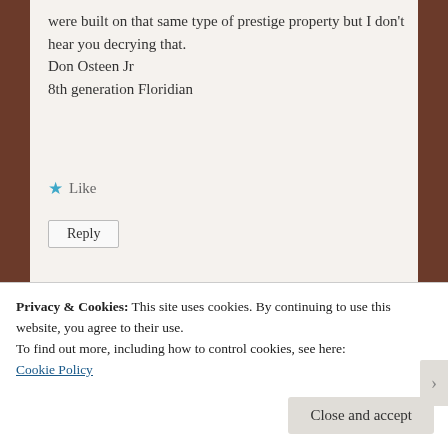were built on that same type of prestige property but I don't hear you decrying that.
Don Osteen Jr
8th generation Floridian
★ Like
Reply
[Figure (photo): Avatar photo of commenter cyndilenz]
cyndilenz says:
January 7, 2016 at 11:42 pm
my house was built in 1968
Privacy & Cookies: This site uses cookies. By continuing to use this website, you agree to their use.
To find out more, including how to control cookies, see here:
Cookie Policy
Close and accept